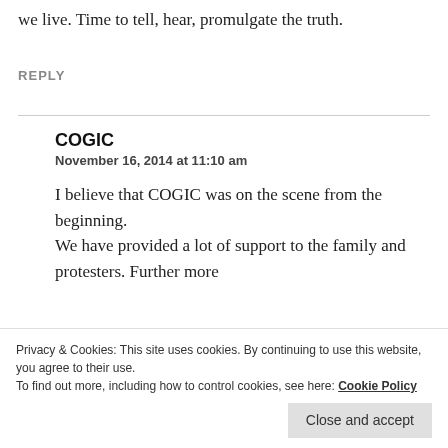we live. Time to tell, hear, promulgate the truth.
REPLY
COGIC
November 16, 2014 at 11:10 am
I believe that COGIC was on the scene from the beginning.
We have provided a lot of support to the family and protesters. Further more
Privacy & Cookies: This site uses cookies. By continuing to use this website, you agree to their use.
To find out more, including how to control cookies, see here: Cookie Policy
Close and accept
saints.